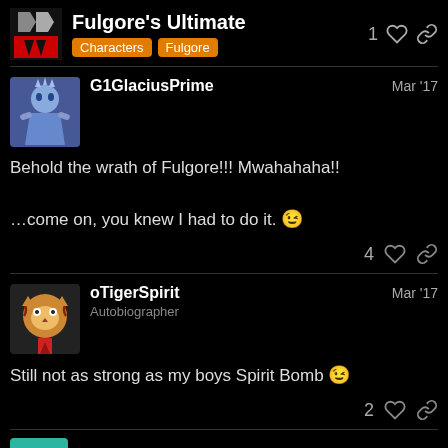Fulgore's Ultimate | Characters | Fulgore
G1GlaciusPrime — Mar '17
Behold the wrath of Fulgore!!! Mwahahaha!!
…come on, you knew I had to do it. 😉
oTigerSpirit — Autobiographer — Mar '17
Still not as strong as my boys Spirit Bomb 😉
Kyomikku
11 / 40